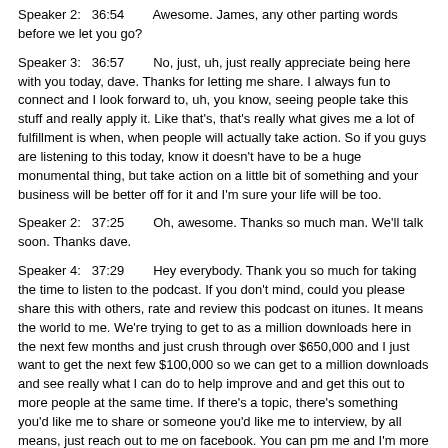Speaker 2:   36:54        Awesome. James, any other parting words before we let you go?
Speaker 3:   36:57        No, just, uh, just really appreciate being here with you today, dave. Thanks for letting me share. I always fun to connect and I look forward to, uh, you know, seeing people take this stuff and really apply it. Like that's, that's really what gives me a lot of fulfillment is when, when people will actually take action. So if you guys are listening to this today, know it doesn't have to be a huge monumental thing, but take action on a little bit of something and your business will be better off for it and I'm sure your life will be too.
Speaker 2:   37:25        Oh, awesome. Thanks so much man. We'll talk soon. Thanks dave.
Speaker 4:   37:29        Hey everybody. Thank you so much for taking the time to listen to the podcast. If you don't mind, could you please share this with others, rate and review this podcast on itunes. It means the world to me. We're trying to get to as a million downloads here in the next few months and just crush through over $650,000 and I just want to get the next few $100,000 so we can get to a million downloads and see really what I can do to help improve and and get this out to more people at the same time. If there's a topic, there's something you'd like me to share or someone you'd like me to interview, by all means, just reach out to me on facebook. You can pm me and I'm more than happy to take any of your feedback as well as if people would like me to